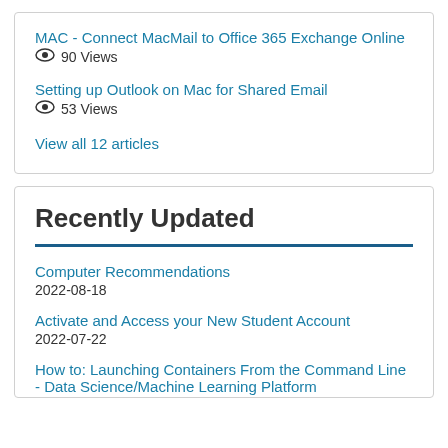MAC - Connect MacMail to Office 365 Exchange Online
👁 90 Views
Setting up Outlook on Mac for Shared Email
👁 53 Views
View all 12 articles
Recently Updated
Computer Recommendations
2022-08-18
Activate and Access your New Student Account
2022-07-22
How to: Launching Containers From the Command Line - Data Science/Machine Learning Platform